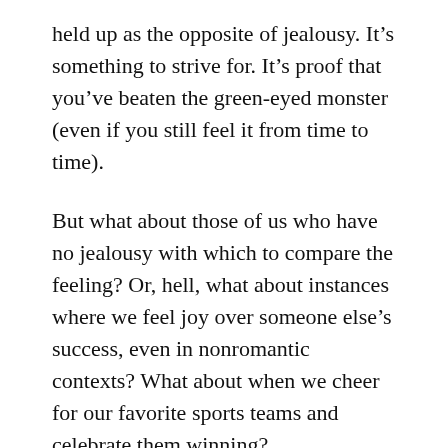held up as the opposite of jealousy. It's something to strive for. It's proof that you've beaten the green-eyed monster (even if you still feel it from time to time).
But what about those of us who have no jealousy with which to compare the feeling? Or, hell, what about instances where we feel joy over someone else's success, even in nonromantic contexts? What about when we cheer for our favorite sports teams and celebrate them winning?
I think we naturally feel compersion in a variety of situations. But people are only applauded for it and only notice it when they